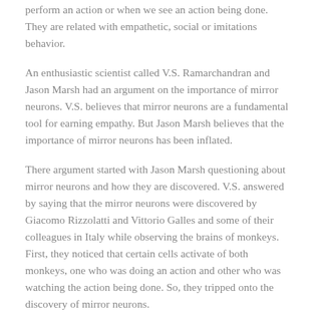perform an action or when we see an action being done. They are related with empathetic, social or imitations behavior.
An enthusiastic scientist called V.S. Ramarchandran and Jason Marsh had an argument on the importance of mirror neurons. V.S. believes that mirror neurons are a fundamental tool for earning empathy. But Jason Marsh believes that the importance of mirror neurons has been inflated.
There argument started with Jason Marsh questioning about mirror neurons and how they are discovered. V.S. answered by saying that the mirror neurons were discovered by Giacomo Rizzolatti and Vittorio Galles and some of their colleagues in Italy while observing the brains of monkeys. First, they noticed that certain cells activate of both monkeys, one who was doing an action and other who was watching the action being done. So, they tripped onto the discovery of mirror neurons.